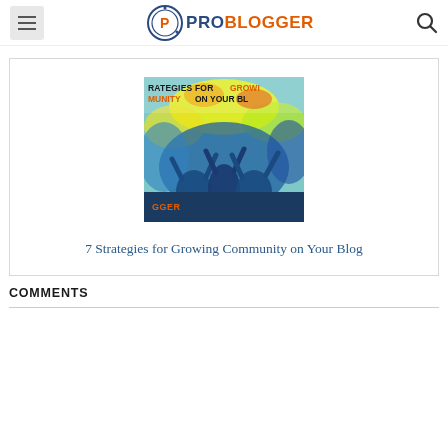ProBlogger
[Figure (illustration): Colorful illustrated image with text reading 'STRATEGIES FOR GROWING COMMUNITY ON YOUR BL...' with people raising hands against a vibrant colorful background, ProBlogger logo at bottom]
7 Strategies for Growing Community on Your Blog
COMMENTS